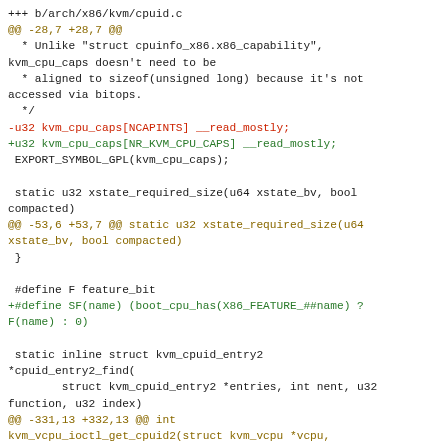diff code block showing changes to arch/x86/kvm/cpuid.c including removal of NCAPINTS and addition of NR_KVM_CPU_CAPS, addition of SF macro, and function signatures